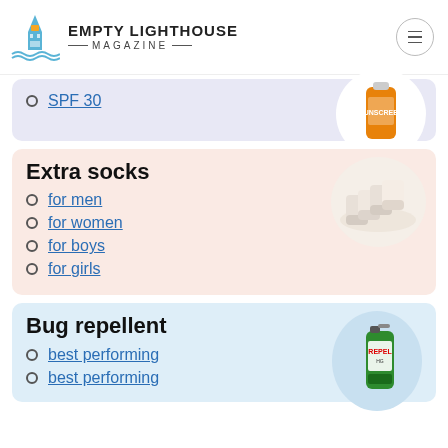EMPTY LIGHTHOUSE MAGAZINE
SPF 30
Extra socks
for men
for women
for boys
for girls
Bug repellent
best performing
best performing